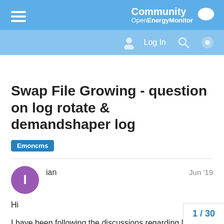Community OpenEnergyMonitor
Swap File Growing - question on log rotate & demandshaper log
Emoncms
ian	Jun '19
Hi
I have been following the discussions regarding log rotate. I don't understand some of the detail but I do understand the principle.
I am self hosted on RPI and fully up to date as far as I know.
I have had an issue for some time where t
1 / 30